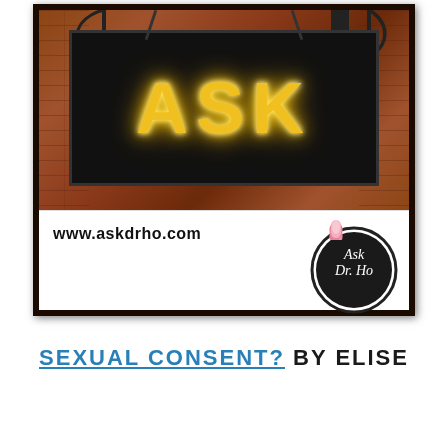[Figure (photo): A framed image showing a black illuminated 'ASK' sign with glowing gold/yellow letters mounted on a brick wall with an iron lamp post and globe light. Below the sign photo is a white panel with 'www.askdrho.com' text and an 'Ask Dr. Ho' circular logo with a pink lotus flower. The whole image has a dark brown/black frame border.]
SEXUAL CONSENT? BY ELISE